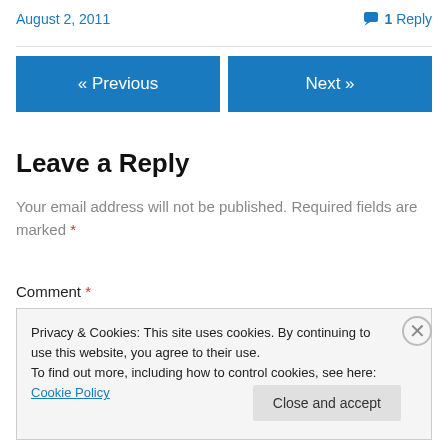August 2, 2011
1 Reply
« Previous
Next »
Leave a Reply
Your email address will not be published. Required fields are marked *
Comment *
Privacy & Cookies: This site uses cookies. By continuing to use this website, you agree to their use.
To find out more, including how to control cookies, see here: Cookie Policy
Close and accept